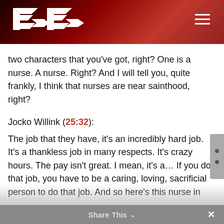[Figure (logo): Extreme Ownership / Echelon Front logo — stylized EF letters with arrows on dark red gradient header bar]
two characters that you've got, right? One is a nurse. A nurse. Right? And I will tell you, quite frankly, I think that nurses are near sainthood, right?
Jocko Willink (25:32):
The job that they have, it's an incredibly hard job. It's a thankless job in many respects. It's crazy hours. The pay isn't great. I mean, it's a… If you do that job, you have to be a caring, loving, sacrificial person to do that job. And so here's this nurse in this… And she's in a mental
Share This ∨  ×